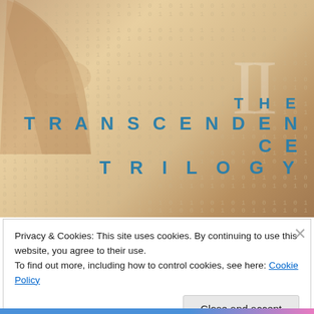[Figure (illustration): Book cover image for 'The Transcendence Trilogy II'. Shows a warm golden/tan background with binary code (0s and 1s) overlaid as texture. A human hand/arm appears in the upper left. A large Roman numeral 'II' appears ghosted in white. The main title text reads 'THE TRANSCENDENCE TRILOGY' in teal/blue spaced lettering on the right side.]
Privacy & Cookies: This site uses cookies. By continuing to use this website, you agree to their use.
To find out more, including how to control cookies, see here: Cookie Policy
Close and accept